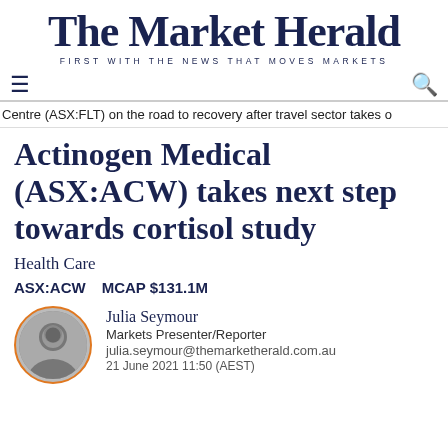The Market Herald — FIRST WITH THE NEWS THAT MOVES MARKETS
Centre (ASX:FLT) on the road to recovery after travel sector takes o
Actinogen Medical (ASX:ACW) takes next step towards cortisol study
Health Care
ASX:ACW    MCAP $131.1M
[Figure (photo): Circular portrait photo of Julia Seymour, Markets Presenter/Reporter, black and white, with orange circle border]
Julia Seymour
Markets Presenter/Reporter
julia.seymour@themarketherald.com.au
21 June 2021 11:50 (AEST)